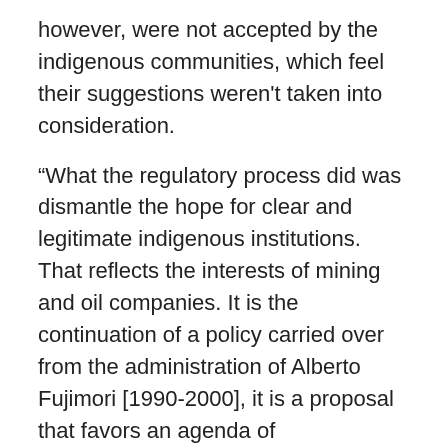however, were not accepted by the indigenous communities, which feel their suggestions weren't taken into consideration.
“What the regulatory process did was dismantle the hope for clear and legitimate indigenous institutions. That reflects the interests of mining and oil companies. It is the continuation of a policy carried over from the administration of Alberto Fujimori [1990-2000], it is a proposal that favors an agenda of development, extractivism, and neoliberalism,” said Alberto Pizango, president of the Interethnic Association for the Development of the Peruvian Rainforest, or AIDESEP, which represents more than 1,500 indigenous Amazonian communities, during the release of the Alternative Report 2012 on Sept. 13, regarding compliance with Convention 169.